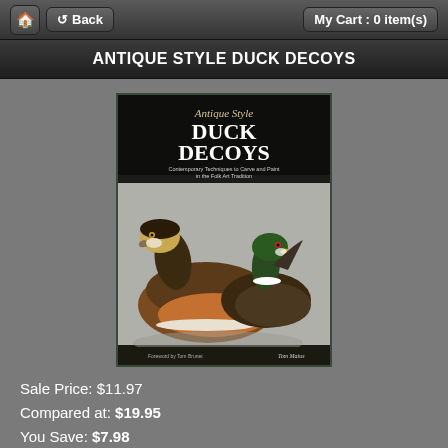Back   My Cart : 0 item(s)
ANTIQUE STYLE DUCK DECOYS
[Figure (photo): Book cover of 'Antique Style Duck Decoys' by Tom Matus. Shows two wooden duck decoys — one with gold and dark brown plumage in front, and a green-headed duck behind. Text reads: Antique Style Duck Decoys — Contemporary Techniques to Carve and Paint in the Folk Art Tradition. Foreword by Tom Brunet.]
Sale Price: $11.97
Compared at: $19.95
You Save: $7.98
Product ID : 6-257